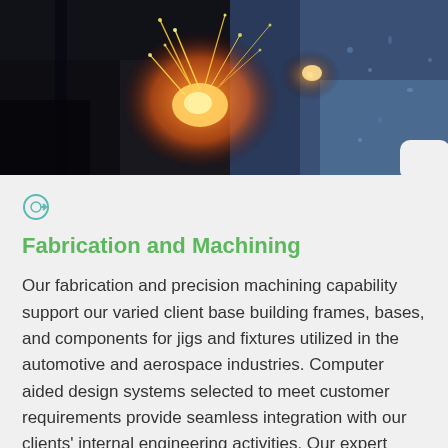[Figure (photo): Industrial welding or plasma cutting scene with bright orange sparks and blue-tinted metal surface in dark industrial environment]
[Figure (other): Circled arrow icon in teal/cyan color pointing right]
Fabrication and Machining
Our fabrication and precision machining capability support our varied client base building frames, bases, and components for jigs and fixtures utilized in the automotive and aerospace industries. Computer aided design systems selected to meet customer requirements provide seamless integration with our clients' internal engineering activities. Our expert team works with each